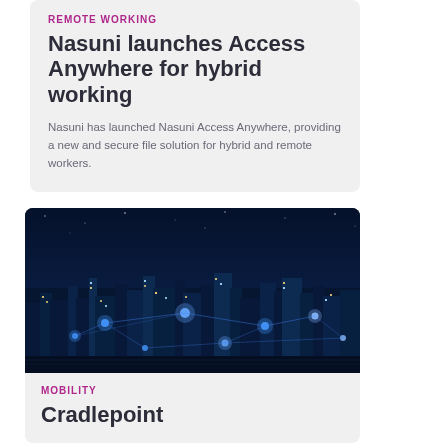REMOTE WORKING
Nasuni launches Access Anywhere for hybrid working
Nasuni has launched Nasuni Access Anywhere, providing a new and secure file solution for hybrid and remote workers.
[Figure (photo): Night aerial view of a city skyline with network connectivity lines and glowing nodes overlaid]
MOBILITY
Cradlepoint